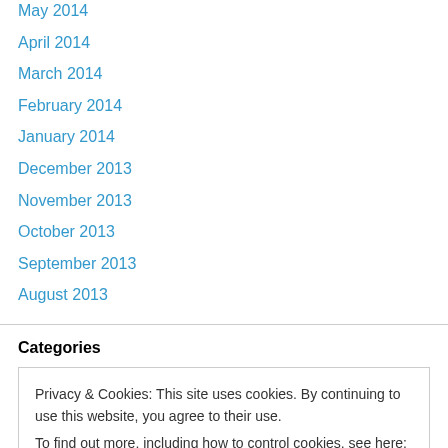May 2014
April 2014
March 2014
February 2014
January 2014
December 2013
November 2013
October 2013
September 2013
August 2013
Categories
Privacy & Cookies: This site uses cookies. By continuing to use this website, you agree to their use.
To find out more, including how to control cookies, see here: Cookie Policy
Close and accept
Movie Reviews